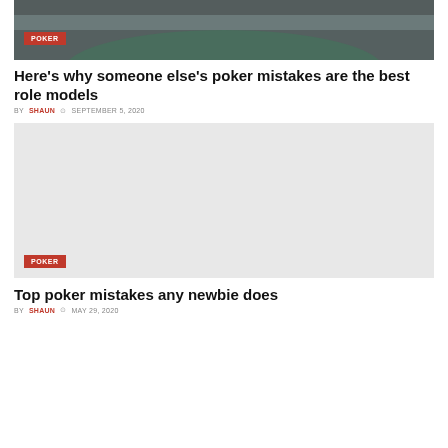[Figure (photo): Overhead view of poker players at a table with cards and chips, dark toned image]
Here’s why someone else’s poker mistakes are the best role models
BY SHAUN ○ SEPTEMBER 5, 2020
[Figure (photo): Light gray placeholder image for second poker article]
Top poker mistakes any newbie does
BY SHAUN ○ MAY 29, 2020